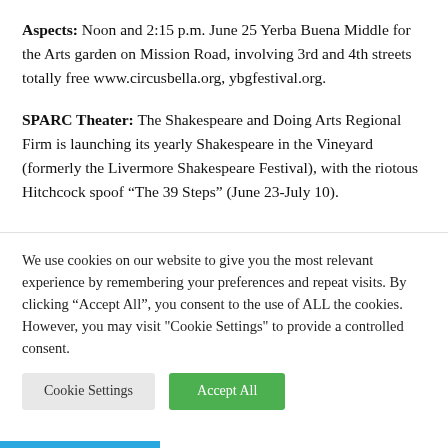Aspects: Noon and 2:15 p.m. June 25 Yerba Buena Middle for the Arts garden on Mission Road, involving 3rd and 4th streets totally free www.circusbella.org, ybgfestival.org.
SPARC Theater: The Shakespeare and Doing Arts Regional Firm is launching its yearly Shakespeare in the Vineyard (formerly the Livermore Shakespeare Festival), with the riotous Hitchcock spoof “The 39 Steps” (June 23-July 10).
We use cookies on our website to give you the most relevant experience by remembering your preferences and repeat visits. By clicking “Accept All”, you consent to the use of ALL the cookies. However, you may visit "Cookie Settings" to provide a controlled consent.